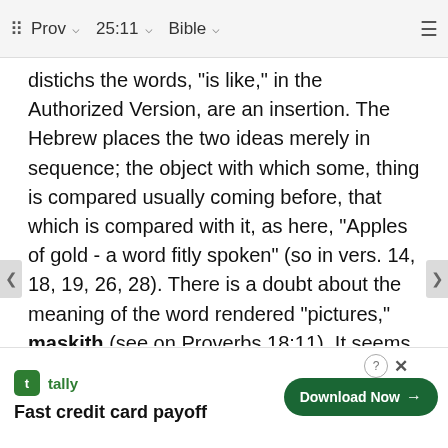⠿  Prov  ▾  25:11  ▾  Bible  ▾  ≡
distichs the words, "is like," in the Authorized Version, are an insertion. The Hebrew places the two ideas merely in sequence; the object with which some, thing is compared usually coming before, that which is compared with it, as here, "Apples of gold - a word fitly spoken" (so in vers. 14, 18, 19, 26, 28). There is a doubt about the meaning of the word rendered "pictures," maskith (see on Proverbs 18:11). It seems to be used generally in the sense of "image," "sculpture," being derived from the verb שָׁכָה, "to see;" from this it comes to signify "ornament," and here most appropriately is "basket," and, as some understand, of filagree work. St. Jerome mistakes the word, rendering, in lectis argenteis. The Septuagint has, ἐν ὁρ κῳ σαρδ gold" ur,